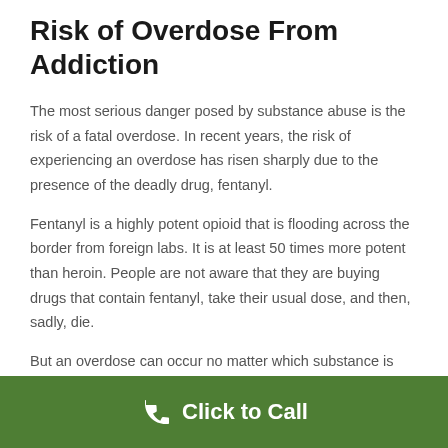Risk of Overdose From Addiction
The most serious danger posed by substance abuse is the risk of a fatal overdose. In recent years, the risk of experiencing an overdose has risen sharply due to the presence of the deadly drug, fentanyl.
Fentanyl is a highly potent opioid that is flooding across the border from foreign labs. It is at least 50 times more potent than heroin. People are not aware that they are buying drugs that contain fentanyl, take their usual dose, and then, sadly, die.
But an overdose can occur no matter which substance is involved. Some may take multiple drugs or mix drugs with alcohol, or just lose track of dosing. In fact, the CDC
Click to Call